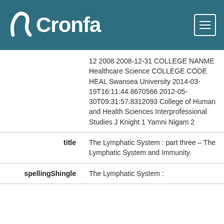Cronfa
12 2008 2008-12-31 COLLEGE NANME Healthcare Science COLLEGE CODE HEAL Swansea University 2014-03-19T16:11:44.8670566 2012-05-30T09:31:57.8312093 College of Human and Health Sciences Interprofessional Studies J Knight 1 Yamni Nigam 2
| label | value |
| --- | --- |
| title | The Lymphatic System : part three – The Lymphatic System and Immunity. |
| spellingShingle | The Lymphatic System : |